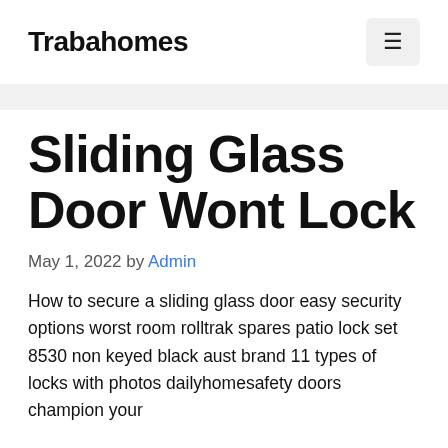Trabahomes
Sliding Glass Door Wont Lock
May 1, 2022 by Admin
How to secure a sliding glass door easy security options worst room rolltrak spares patio lock set 8530 non keyed black aust brand 11 types of locks with photos dailyhomesafety doors champion your